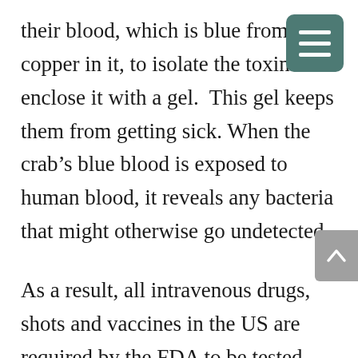their blood, which is blue from the copper in it, to isolate the toxin and enclose it with a gel.  This gel keeps them from getting sick. When the crab's blue blood is exposed to human blood, it reveals any bacteria that might otherwise go undetected.
As a result, all intravenous drugs, shots and vaccines in the US are required by the FDA to be tested with horseshoe crab blood to detect any foreign bacteria